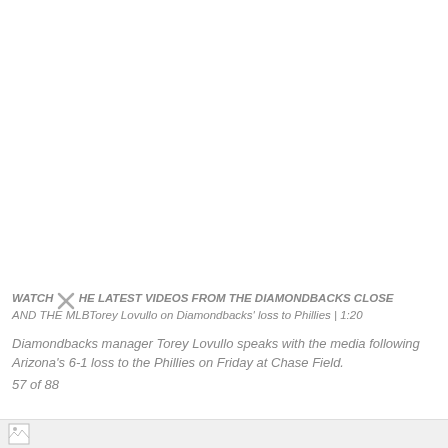WATCH THE LATEST VIDEOS FROM THE DIAMONDBACKS CLOSE AND THE MLBTorey Lovullo on Diamondbacks' loss to Phillies | 1:20
Diamondbacks manager Torey Lovullo speaks with the media following Arizona's 6-1 loss to the Phillies on Friday at Chase Field.
57 of 88
[Figure (other): Bottom bar with broken image icon]